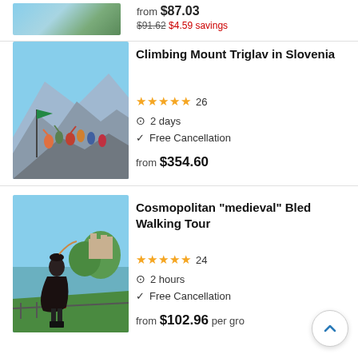from $87.03
$91.62 $4.59 savings
Climbing Mount Triglav in Slovenia
★★★★★ 26
2 days
Free Cancellation
from $354.60
Cosmopolitan "medieval" Bled Walking Tour
★★★★★ 24
2 hours
Free Cancellation
from $102.96 per gro